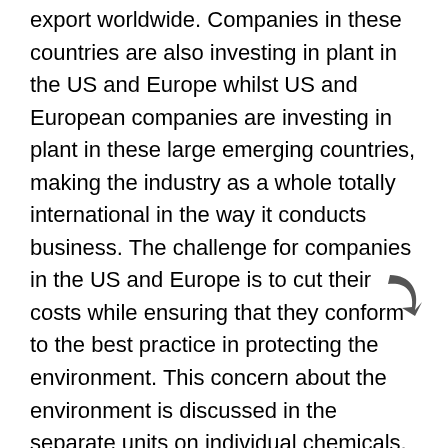export worldwide. Companies in these countries are also investing in plant in the US and Europe whilst US and European companies are investing in plant in these large emerging countries, making the industry as a whole totally international in the way it conducts business. The challenge for companies in the US and Europe is to cut their costs while ensuring that they conform to the best practice in protecting the environment. This concern about the environment is discussed in the separate units on individual chemicals.
A new revolution beckons. As oil and natural gas become ever scarcer and more expensive, chemists are searching for new feedstocks to supplement or even replace oil and natural gas. And they are rediscovering the virtues of coal (still in hu… even though it is a fossil fuel that cannot b… and biomass.
The co… arising of all industries the late 19th and the…